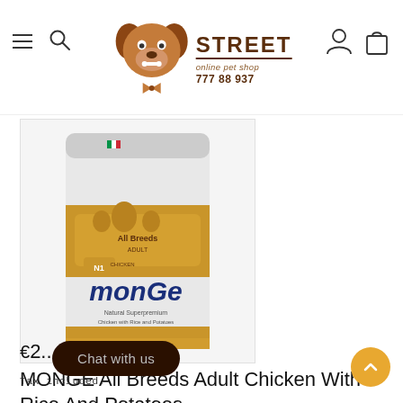STREET online pet shop 777 88 937
[Figure (photo): Monge Natural Superpremium dog food bag - All Breeds Adult Chicken with Rice and Potatoes, 12kg bag with gold and white packaging]
MONGE All Breeds Adult Chicken With Rice And Potatoes
€2...
Tax included.